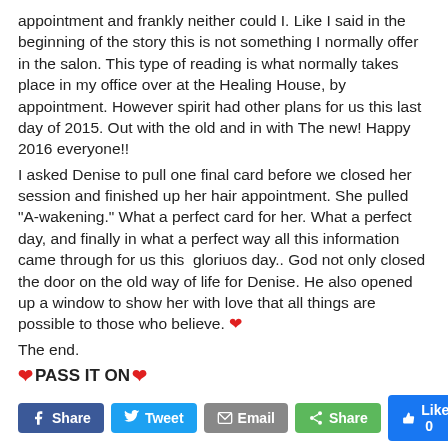appointment and frankly neither could I. Like I said in the beginning of the story this is not something I normally offer in the salon. This type of reading is what normally takes place in my office over at the Healing House, by appointment. However spirit had other plans for us this last day of 2015. Out with the old and in with The new! Happy 2016 everyone!!
I asked Denise to pull one final card before we closed her session and finished up her hair appointment. She pulled “A-wakening.” What a perfect card for her. What a perfect day, and finally in what a perfect way all this information came through for us this  gloriuos day.. God not only closed the door on the old way of life for Denise. He also opened up a window to show her with love that all things are possible to those who believe. ❤
The end.
❤ PASS IT ON ❤
[Figure (screenshot): Social share buttons: Facebook Share, Twitter Tweet, Email, Share (green), and Like 0 (blue)]